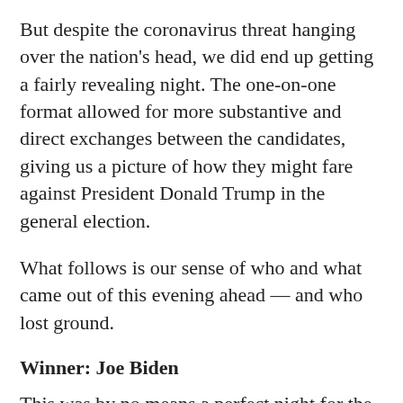But despite the coronavirus threat hanging over the nation's head, we did end up getting a fairly revealing night. The one-on-one format allowed for more substantive and direct exchanges between the candidates, giving us a picture of how they might fare against President Donald Trump in the general election.
What follows is our sense of who and what came out of this evening ahead — and who lost ground.
Winner: Joe Biden
This was by no means a perfect night for the frontrunner. Sanders hit Biden hard when it came to his past votes on issues including same-sex marriage and bankruptcy; Biden seemed to have lied in defending his record, most notably on Social